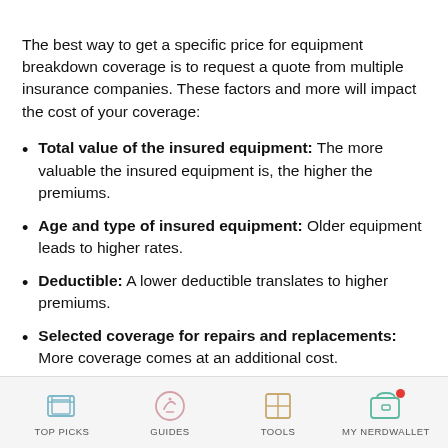The best way to get a specific price for equipment breakdown coverage is to request a quote from multiple insurance companies. These factors and more will impact the cost of your coverage:
Total value of the insured equipment: The more valuable the insured equipment is, the higher the premiums.
Age and type of insured equipment: Older equipment leads to higher rates.
Deductible: A lower deductible translates to higher premiums.
Selected coverage for repairs and replacements: More coverage comes at an additional cost.
TOP PICKS | GUIDES | TOOLS | MY NERDWALLET